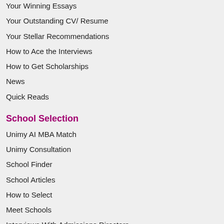Your Winning Essays
Your Outstanding CV/ Resume
Your Stellar Recommendations
How to Ace the Interviews
How to Get Scholarships
News
Quick Reads
School Selection
Unimy AI MBA Match
Unimy Consultation
School Finder
School Articles
How to Select
Meet Schools
Interviews With Admissions Directors
Free Resources
MBA Match